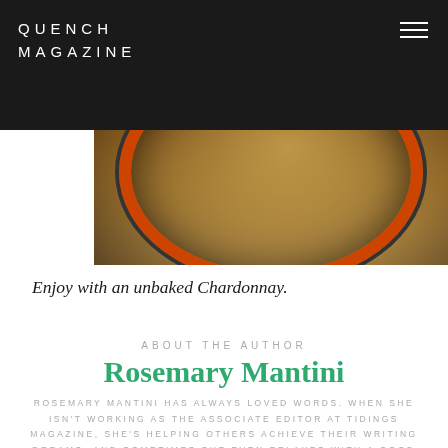QUENCH MAGAZINE
[Figure (photo): Food photograph showing a decorative plate with an orange/red rim containing a dish, set against a dark ornate background]
Enjoy with an unbaked Chardonnay.
ABOUT THE AUTHOR
Rosemary Mantini
ROSEMARY MANTINI HAS ALWAYS LOVED WORDS. WHEN SHE ISN'T WORKING AS THE ASSOCIATE EDITOR AT TIDINGS MAGAZINE, SHE'S HELPING OTHERS ACHIEVE THEIR WRITING DREAMS, AND SOMETIMES SHE EVEN RELAXES WITH A GOOD BOOK AND A GLASS OF WINE.